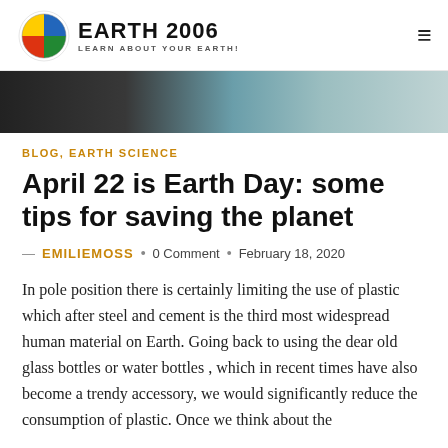EARTH 2006 — LEARN ABOUT YOUR EARTH!
[Figure (photo): Partial hero image showing a dark interior on the left and a metallic pitcher or jug on the right against a light background]
BLOG, EARTH SCIENCE
April 22 is Earth Day: some tips for saving the planet
— EMILIEMOSS • 0 Comment • February 18, 2020
In pole position there is certainly limiting the use of plastic which after steel and cement is the third most widespread human material on Earth. Going back to using the dear old glass bottles or water bottles , which in recent times have also become a trendy accessory, we would significantly reduce the consumption of plastic. Once we think about the